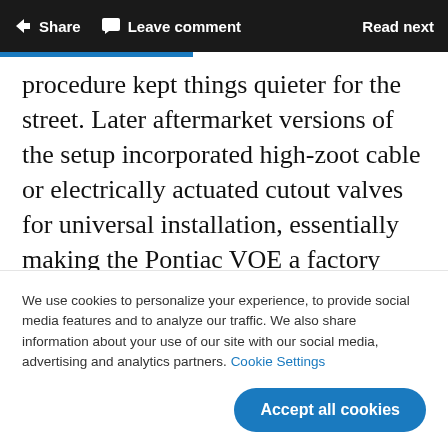Share  Leave comment  Read next
procedure kept things quieter for the street. Later aftermarket versions of the setup incorporated high-zoot cable or electrically actuated cutout valves for universal installation, essentially making the Pontiac VOE a factory production version of hot rod and street-performance culture
We use cookies to personalize your experience, to provide social media features and to analyze our traffic. We also share information about your use of our site with our social media, advertising and analytics partners. Cookie Settings
Accept all cookies